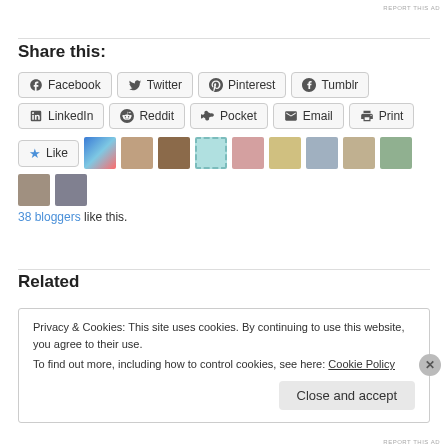REPORT THIS AD
Share this:
Facebook  Twitter  Pinterest  Tumblr  LinkedIn  Reddit  Pocket  Email  Print
38 bloggers like this.
Related
Privacy & Cookies: This site uses cookies. By continuing to use this website, you agree to their use.
To find out more, including how to control cookies, see here: Cookie Policy
Close and accept
REPORT THIS AD